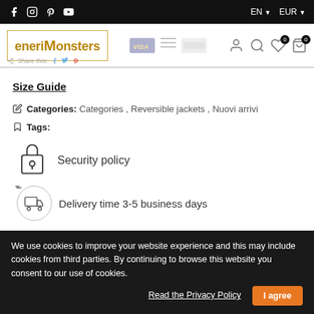Social icons: Facebook, Instagram, Pinterest, YouTube | EN EUR
[Figure (logo): eneriMonsters logo with golden border]
Share this:
Size Guide
Categories: Categories , Reversible jackets , Nuovi arrivi
Tags:
Security policy
Delivery time 3-5 business days
We use cookies to improve your website experience and this may include cookies from third parties. By continuing to browse this website you consent to our use of cookies.
Read the Privacy Policy
I agree